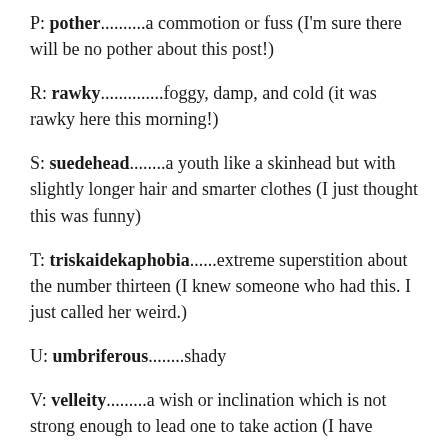P: pother..........a commotion or fuss (I'm sure there will be no pother about this post!)
R: rawky..............foggy, damp, and cold (it was rawky here this morning!)
S: suedehead........a youth like a skinhead but with slightly longer hair and smarter clothes (I just thought this was funny)
T: triskaidekaphobia.......extreme superstition about the number thirteen (I knew someone who had this. I just called her weird.)
U: umbriferous........shady
V: velleity..........a wish or inclination which is not strong enough to lead one to take action (I have